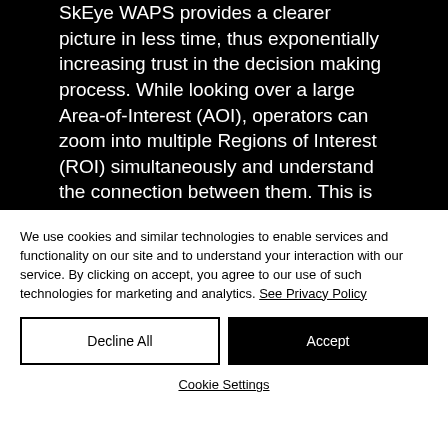[Figure (screenshot): Dark background with white text describing SkEye WAPS providing a clearer picture in less time, exponentially increasing trust in the decision making process. While looking over a large Area-of-Interest (AOI), operators can zoom into multiple Regions of Interest (ROI) simultaneously and understand the connection between them. This is achieved without neglecting the rest of the area, which is still being recorded]
We use cookies and similar technologies to enable services and functionality on our site and to understand your interaction with our service. By clicking on accept, you agree to our use of such technologies for marketing and analytics. See Privacy Policy
Decline All
Accept
Cookie Settings